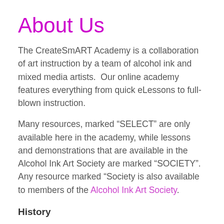About Us
The CreateSmART Academy is a collaboration of art instruction by a team of alcohol ink and mixed media artists.  Our online academy features everything from quick eLessons to full-blown instruction.
Many resources, marked “SELECT” are only available here in the academy, while lessons and demonstrations that are available in the Alcohol Ink Art Society are marked “SOCIETY”. Any resource marked “Society is also available to members of the Alcohol Ink Art Society.
History
CreateSmART Academy was launched in April 2020 by a team of Alcohol Ink and Mixed Media art instructors.  The academy is a collaboration